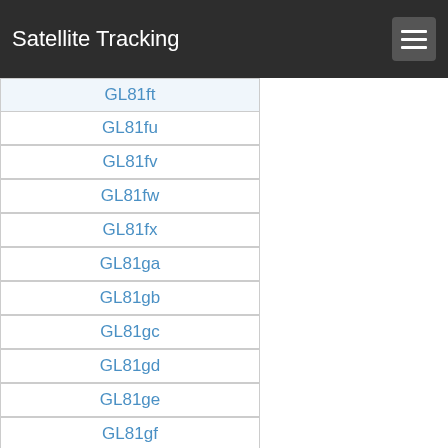Satellite Tracking
GL81ft
GL81fu
GL81fv
GL81fw
GL81fx
GL81ga
GL81gb
GL81gc
GL81gd
GL81ge
GL81gf
GL81gg
GL81gh
GL81gi
GL81gj
GL81gk
GL81gl
GL81gm